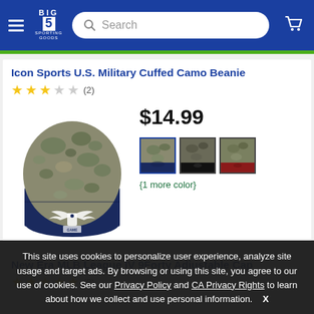[Figure (screenshot): Big 5 Sporting Goods website header with hamburger menu, Big 5 logo, search bar, and cart icon on blue background]
Icon Sports U.S. Military Cuffed Camo Beanie
★★★☆☆ (2)
[Figure (photo): Icon Sports U.S. Military Cuffed Camo Beanie - camo pattern top with navy blue cuff, military eagle emblem]
$14.99
[Figure (photo): Three color swatches of the beanie - navy/camo, black/camo, olive/red camo]
{1 more color}
New Era MLB League IV 9Forty Adjustable Cap
★★★★★ (8)
This site uses cookies to personalize user experience, analyze site usage and target ads. By browsing or using this site, you agree to our use of cookies. See our Privacy Policy and CA Privacy Rights to learn about how we collect and use personal information.    X